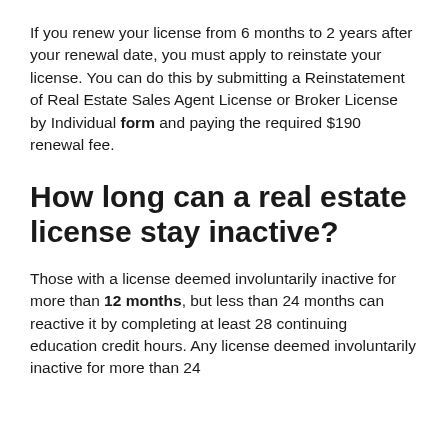If you renew your license from 6 months to 2 years after your renewal date, you must apply to reinstate your license. You can do this by submitting a Reinstatement of Real Estate Sales Agent License or Broker License by Individual form and paying the required $190 renewal fee.
How long can a real estate license stay inactive?
Those with a license deemed involuntarily inactive for more than 12 months, but less than 24 months can reactive it by completing at least 28 continuing education credit hours. Any license deemed involuntarily inactive for more than 24